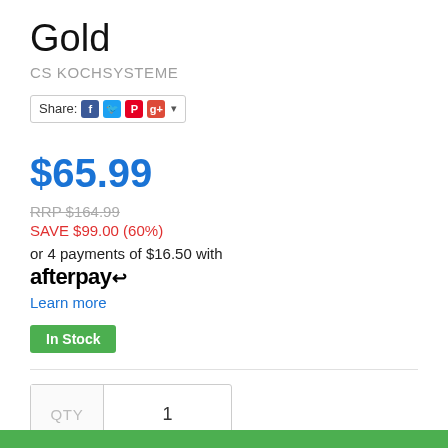Gold
CS KOCHSYSTEME
[Figure (other): Share button with social media icons: Facebook, Twitter, Pinterest, Google+, and a dropdown arrow]
$65.99
RRP $164.99
SAVE $99.00 (60%)
or 4 payments of $16.50 with afterpay
Learn more
In Stock
QTY  1